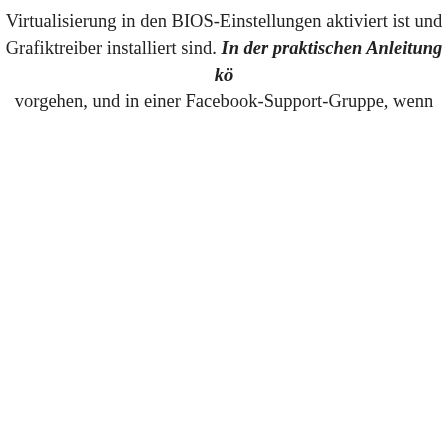Virtualisierung in den BIOS-Einstellungen aktiviert ist und Grafiktreiber installiert sind. In der praktischen Anleitung kö vorgehen, und in einer Facebook-Support-Gruppe, wenn